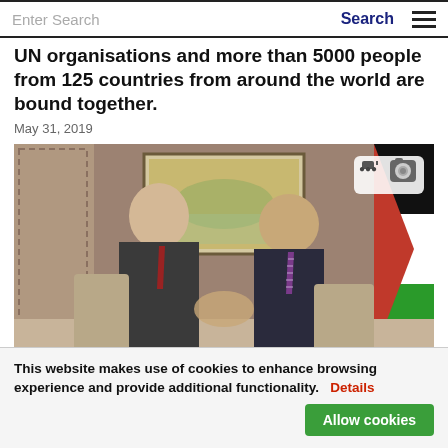Enter Search   Search   ☰
UN organisations and more than 5000 people from 125 countries from around the world are bound together.
May 31, 2019
[Figure (photo): Two men in dark suits shaking hands. A landscape painting hangs on the wall behind them. A Palestinian flag is visible on the right. One man wears a red tie, the other a purple/pink striped tie. A camera icon badge is visible in the upper right of the photo.]
This website makes use of cookies to enhance browsing experience and provide additional functionality.  Details    Allow cookies